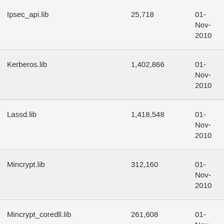| Ipsec_api.lib | 25,718 | 01-Nov-2010 | 17:37 | Publi... |
| Kerberos.lib | 1,402,866 | 01-Nov-2010 | 17:37 | Publi... |
| Lassd.lib | 1,418,548 | 01-Nov-2010 | 17:37 | Publi... |
| Mincrypt.lib | 312,160 | 01-Nov-2010 | 17:37 | Publi... |
| Mincrypt_coredll.lib | 261,608 | 01-Nov-2010 | 17:37 | Publi... |